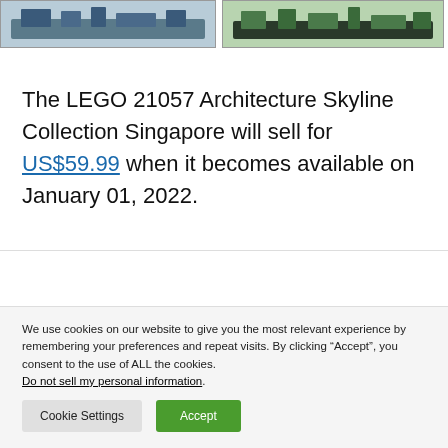[Figure (photo): Two LEGO Architecture Skyline Collection Singapore set images side by side at top of page]
The LEGO 21057 Architecture Skyline Collection Singapore will sell for US$59.99 when it becomes available on January 01, 2022.
We use cookies on our website to give you the most relevant experience by remembering your preferences and repeat visits. By clicking "Accept", you consent to the use of ALL the cookies. Do not sell my personal information.